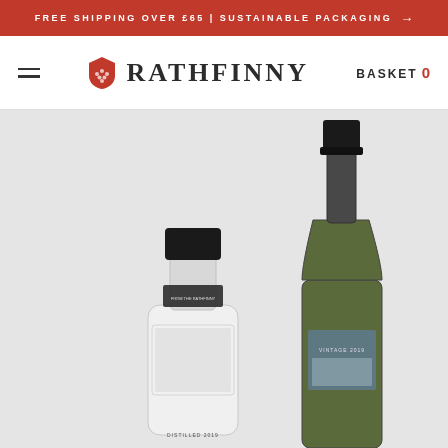FREE SHIPPING OVER £65 | SUSTAINABLE PACKAGING →
[Figure (logo): Rathfinny wine estate logo with red shield/crest icon and serif wordmark RATHFINNY, plus hamburger menu and BASKET 0 navigation]
[Figure (photo): Two Rathfinny bottles on gray background: a shorter square glass gin bottle labeled DISTILLED 2019 on the left, and a taller dark wine bottle labeled VINTAGE 2019 on the right]